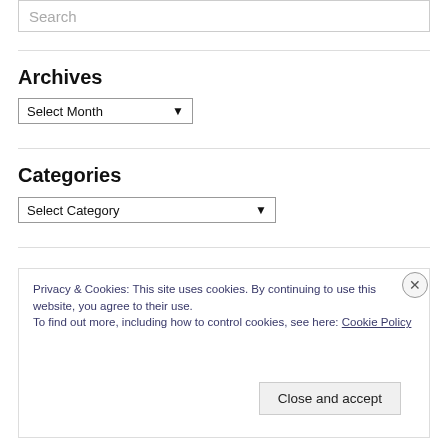Search
Archives
Select Month
Categories
Select Category
Privacy & Cookies: This site uses cookies. By continuing to use this website, you agree to their use.
To find out more, including how to control cookies, see here: Cookie Policy
Close and accept